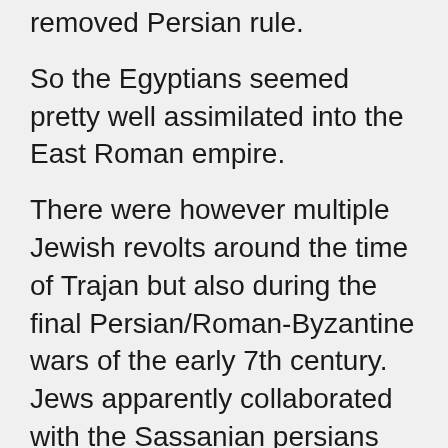removed Persian rule.
So the Egyptians seemed pretty well assimilated into the East Roman empire.
There were however multiple Jewish revolts around the time of Trajan but also during the final Persian/Roman-Byzantine wars of the early 7th century. Jews apparently collaborated with the Sassanian persians when they conquered Jerusalem – undoubtedly the Jews in a frenzy were desperate to restore the Temple and Monarchy they enjoyed from biblical times. Another motivator was to also to get even with the